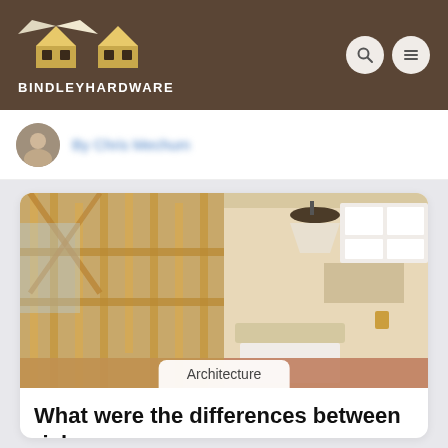BINDLEYHARDWARE
By [author name blurred]
[Figure (photo): Split image showing house framing/construction lumber on the left side and a finished modern kitchen with white cabinets, granite island, and pendant lighting on the right side.]
Architecture
What were the differences between rich —